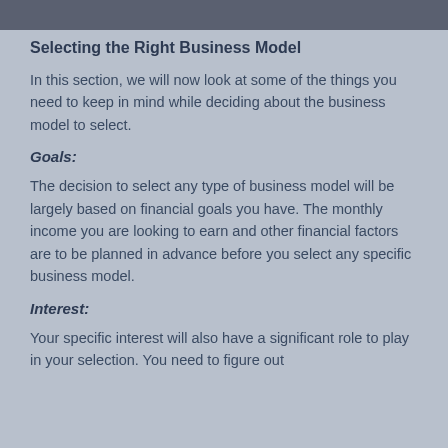[Figure (photo): Top portion of a photo showing a person, cropped at the bottom of the visible strip]
Selecting the Right Business Model
In this section, we will now look at some of the things you need to keep in mind while deciding about the business model to select.
Goals:
The decision to select any type of business model will be largely based on financial goals you have. The monthly income you are looking to earn and other financial factors are to be planned in advance before you select any specific business model.
Interest:
Your specific interest will also have a significant role to play in your selection. You need to figure out